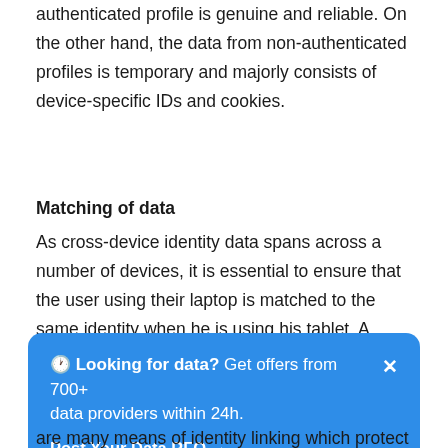authenticated profile is genuine and reliable. On the other hand, the data from non-authenticated profiles is temporary and majorly consists of device-specific IDs and cookies.
Matching of data
As cross-device identity data spans across a number of devices, it is essential to ensure that the user using their laptop is matched to the same identity when he is using his tablet. A mismatch in these coordinates will disturb the purpose of buying cross-device data.
[Figure (infographic): Blue rounded banner with clock emoji: 'Looking for data? Get offers from 700+ data providers within 24h.' with 'Post Your Data RFQ →' link and X close button]
are many means of identity linking which protect